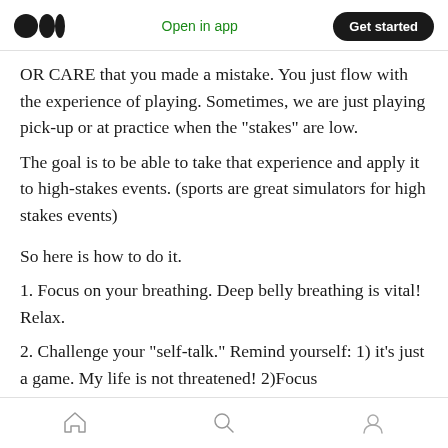Medium logo | Open in app | Get started
OR CARE that you made a mistake. You just flow with the experience of playing. Sometimes, we are just playing pick-up or at practice when the “stakes” are low.
The goal is to be able to take that experience and apply it to high-stakes events. (sports are great simulators for high stakes events)
So here is how to do it.
1. Focus on your breathing. Deep belly breathing is vital! Relax.
2. Challenge your “self-talk.” Remind yourself: 1) it’s just a game. My life is not threatened! 2)Focus